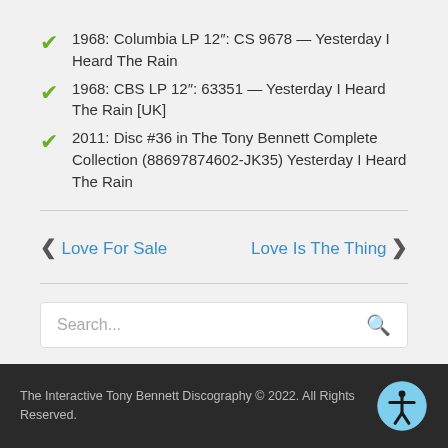1968: Columbia LP 12": CS 9678 — Yesterday I Heard The Rain
1968: CBS LP 12": 63351 — Yesterday I Heard The Rain [UK]
2011: Disc #36 in The Tony Bennett Complete Collection (88697874602-JK35) Yesterday I Heard The Rain
← Love For Sale    Love Is The Thing →
Search...
The Interactive Tony Bennett Discography © 2022. All Rights Reserved.